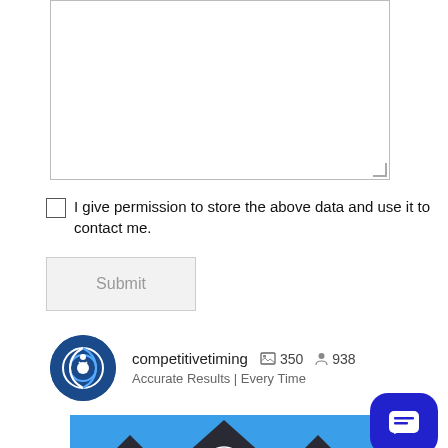[Figure (screenshot): Textarea input box with resize handle at bottom right]
I give permission to store the above data and use it to contact me.
Submit
[Figure (screenshot): Instagram-style profile widget showing username 'competitivetiming', 350 photos, 938 followers, bio 'Accurate Results | Every Time', with circular logo and a photo of an event tent with the competitive timing logo]
[Figure (photo): Photo of a dark event tent with the competitive timing swirl logo printed on it, blue sky background]